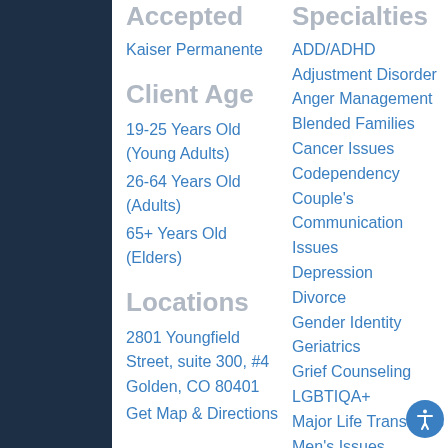Accepted
Kaiser Permanente
Client Age
19-25 Years Old (Young Adults)
26-64 Years Old (Adults)
65+ Years Old (Elders)
Locations
2801 Youngfield Street, suite 300, #4
Golden, CO 80401
Get Map & Directions
Specialties
ADD/ADHD
Adjustment Disorder
Anger Management
Blended Families
Cancer Issues
Codependency
Couple's Communication Issues
Depression
Divorce
Gender Identity
Geriatrics
Grief Counseling
LGBTIQA+
Major Life Transitions
Men's Issues
Online Therapy Covered by Insurance